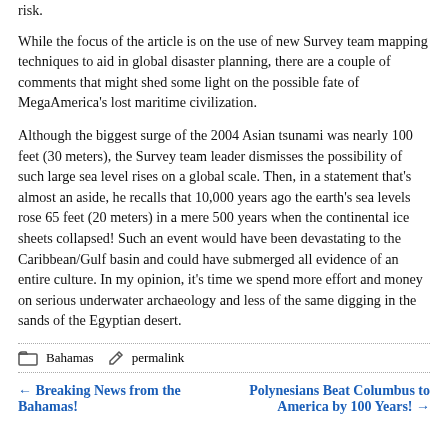risk.
While the focus of the article is on the use of new Survey team mapping techniques to aid in global disaster planning, there are a couple of comments that might shed some light on the possible fate of MegaAmerica's lost maritime civilization.
Although the biggest surge of the 2004 Asian tsunami was nearly 100 feet (30 meters), the Survey team leader dismisses the possibility of such large sea level rises on a global scale. Then, in a statement that's almost an aside, he recalls that 10,000 years ago the earth's sea levels rose 65 feet (20 meters) in a mere 500 years when the continental ice sheets collapsed! Such an event would have been devastating to the Caribbean/Gulf basin and could have submerged all evidence of an entire culture. In my opinion, it's time we spend more effort and money on serious underwater archaeology and less of the same digging in the sands of the Egyptian desert.
Bahamas   permalink
← Breaking News from the Bahamas!
Polynesians Beat Columbus to America by 100 Years! →